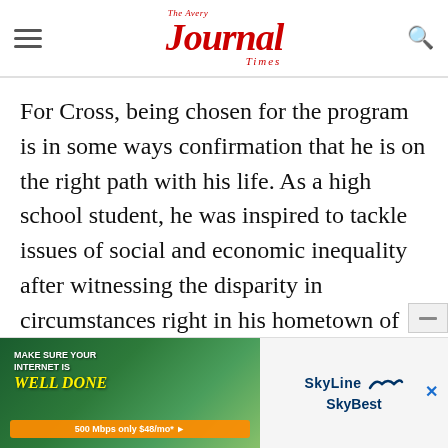The Avery Journal Times
For Cross, being chosen for the program is in some ways confirmation that he is on the right path with his life. As a high school student, he was inspired to tackle issues of social and economic inequality after witnessing the disparity in circumstances right in his hometown of Columbus, Ohio.
The pivotal moment came after he participated in a ride-along with local police officers in that
[Figure (infographic): Advertisement banner for SkyLine SkyBest internet service. Left side shows illustrated outdoor scene with text 'Make sure your internet is well done' and orange button '500 Mbps only $48/mo*'. Right side shows SkyLine and SkyBest logos with wave graphic.]